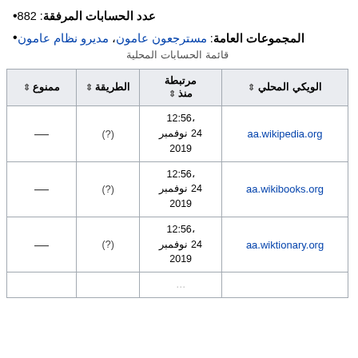عدد الحسابات المرفقة: 882
المجموعات العامة: مسترجعون عامون، مديرو نظام عامون
قائمة الحسابات المحلية
| الويكي المحلي ⇕ | ⇕ مرتبطة منذ | الطريقة ⇕ | ممنوع ⇕ |
| --- | --- | --- | --- |
| aa.wikipedia.org | 12:56، 24 نوفمبر 2019 | (?) | — |
| aa.wikibooks.org | 12:56، 24 نوفمبر 2019 | (?) | — |
| aa.wiktionary.org | 12:56، 24 نوفمبر 2019 | (?) | — |